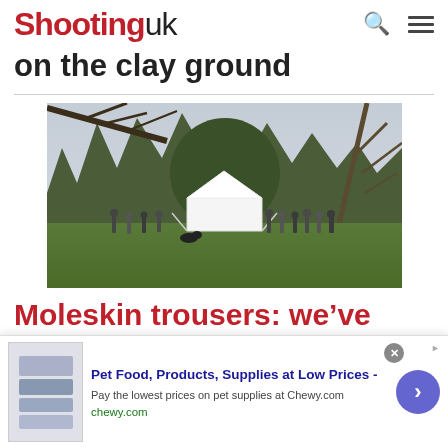Shooting uk
on the clay ground
[Figure (photo): Outdoor photo showing a group of people gathered on a lawn around a white marquee tent, surrounded by trees and bare winter branches in the foreground]
Moleskin trousers: we’ve picked out
[Figure (other): Advertisement banner: Pet Food, Products, Supplies at Low Prices - chewy.com. Pay the lowest prices on pet supplies at Chewy.com. Contains product thumbnails and a forward arrow button.]